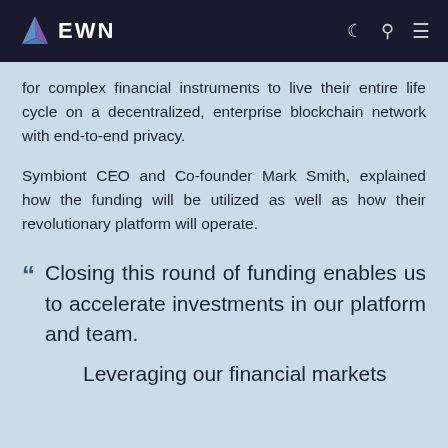EWN
for complex financial instruments to live their entire life cycle on a decentralized, enterprise blockchain network with end-to-end privacy.
Symbiont CEO and Co-founder Mark Smith, explained how the funding will be utilized as well as how their revolutionary platform will operate.
“ Closing this round of funding enables us to accelerate investments in our platform and team.
Leveraging our financial markets